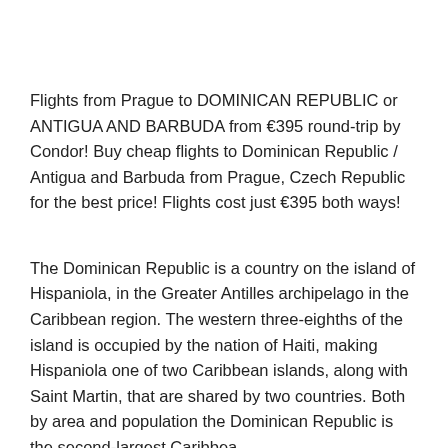Flights from Prague to DOMINICAN REPUBLIC or ANTIGUA AND BARBUDA from €395 round-trip by Condor! Buy cheap flights to Dominican Republic / Antigua and Barbuda from Prague, Czech Republic for the best price! Flights cost just €395 both ways!
The Dominican Republic is a country on the island of Hispaniola, in the Greater Antilles archipelago in the Caribbean region. The western three-eighths of the island is occupied by the nation of Haiti, making Hispaniola one of two Caribbean islands, along with Saint Martin, that are shared by two countries. Both by area and population the Dominican Republic is the second-largest Caribbea.